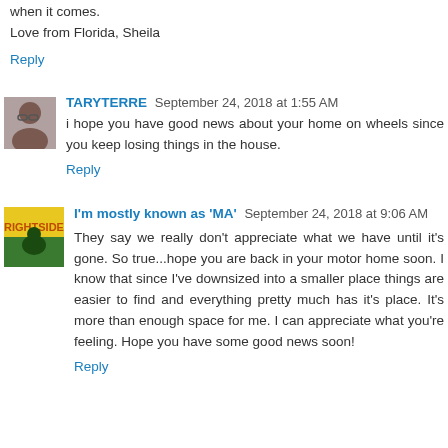when it comes.
Love from Florida, Sheila
Reply
TARYTERRE September 24, 2018 at 1:55 AM
i hope you have good news about your home on wheels since you keep losing things in the house.
Reply
I'm mostly known as 'MA' September 24, 2018 at 9:06 AM
They say we really don't appreciate what we have until it's gone. So true...hope you are back in your motor home soon. I know that since I've downsized into a smaller place things are easier to find and everything pretty much has it's place. It's more than enough space for me. I can appreciate what you're feeling. Hope you have some good news soon!
Reply